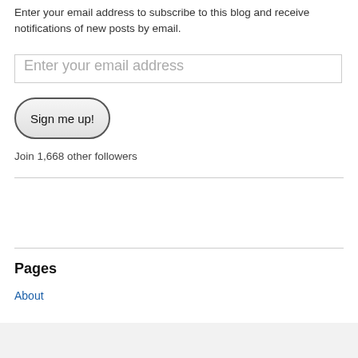Enter your email address to subscribe to this blog and receive notifications of new posts by email.
Enter your email address
[Figure (screenshot): Sign me up! button — rounded rectangle button with gradient background]
Join 1,668 other followers
Pages
About
[Figure (infographic): Advertisement banner with Ulta Beauty images showing lips, makeup brush, eye, Ulta logo, eyebrow, and SHOP NOW text]
Advertisements